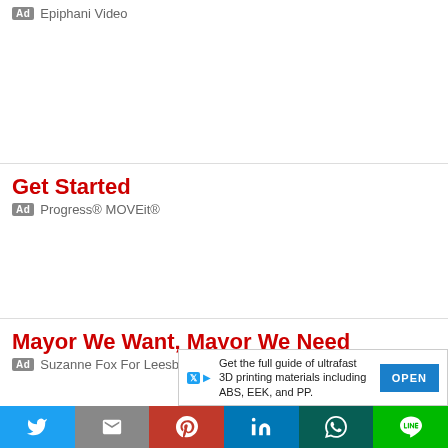[Figure (screenshot): Ad section top: Ad badge with 'Epiphani Video' source text, mostly blank ad space]
Ad  Epiphani Video
Get Started
Ad  Progress® MOVEit®
Mayor We Want, Mayor We Need
Ad  Suzanne Fox For Leesburg
Your Precious Metals Experts
Ad  ADOTPANT.CO
Get the full guide of ultrafast 3D printing materials including ABS, EEK, and PP.
[Figure (screenshot): Social share bar with Twitter, Gmail, Pinterest, LinkedIn, WhatsApp, Line buttons]